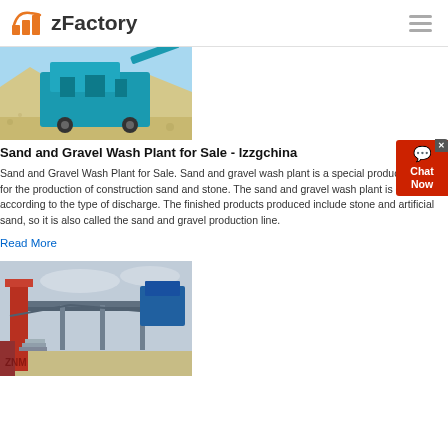zFactory
[Figure (photo): Sand and gravel wash plant machinery - blue crushing/washing equipment with sand piles in background]
Sand and Gravel Wash Plant for Sale - lzzgchina
Sand and Gravel Wash Plant for Sale. Sand and gravel wash plant is a special production line for the production of construction sand and stone. The sand and gravel wash plant is defined according to the type of discharge. The finished products produced include stone and artificial sand, so it is also called the sand and gravel production line.
Read More
[Figure (photo): Industrial plant machinery - red and blue equipment structure at construction/mining site]